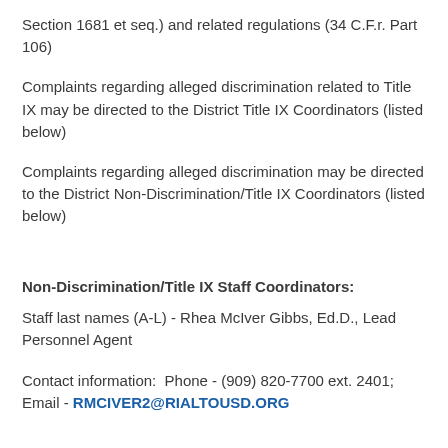Section 1681 et seq.) and related regulations (34 C.F.r. Part 106)
Complaints regarding alleged discrimination related to Title IX may be directed to the District Title IX Coordinators (listed below)
Complaints regarding alleged discrimination may be directed to the District Non-Discrimination/Title IX Coordinators (listed below)
Non-Discrimination/Title IX Staff Coordinators:
Staff last names (A-L) - Rhea McIver Gibbs, Ed.D., Lead Personnel Agent
Contact information:  Phone - (909) 820-7700 ext. 2401; Email - RMCIVER2@RIALTOUSD.ORG